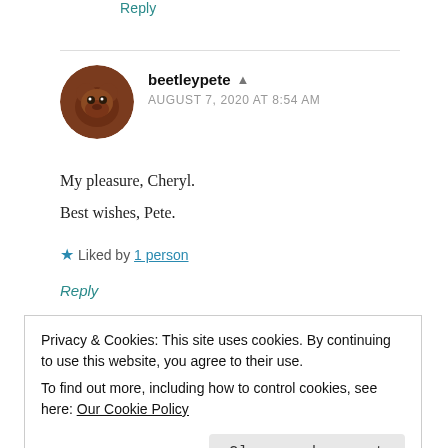Reply
beetleypete
AUGUST 7, 2020 AT 8:54 AM
My pleasure, Cheryl.
Best wishes, Pete.
Liked by 1 person
Reply
Privacy & Cookies: This site uses cookies. By continuing to use this website, you agree to their use.
To find out more, including how to control cookies, see here: Our Cookie Policy
Close and accept
AUGUST 6, 2020 AT 5:42 PM